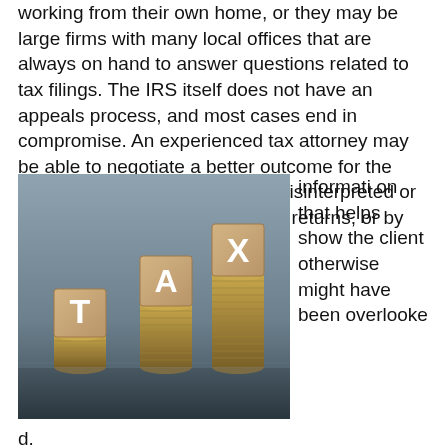working from their own home, or they may be large firms with many local offices that are always on hand to answer questions related to tax filings. The IRS itself does not have an appeals process, and most cases end in compromise. An experienced tax attorney may be able to negotiate a better outcome for the client by showing that the IRS misinterpreted or overlooked something in the tax returns, or by providing information that helps show the client otherwise might have been overlooked.
[Figure (photo): Three stacks of coins with wooden blocks on top spelling out T, A, X in increasing height order, photographed against a blurred background.]